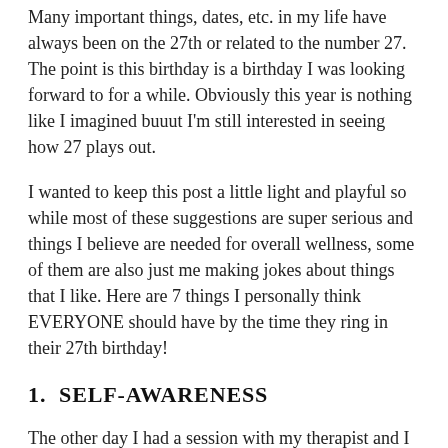Many important things, dates, etc. in my life have always been on the 27th or related to the number 27. The point is this birthday is a birthday I was looking forward to for a while. Obviously this year is nothing like I imagined buuut I'm still interested in seeing how 27 plays out.
I wanted to keep this post a little light and playful so while most of these suggestions are super serious and things I believe are needed for overall wellness, some of them are also just me making jokes about things that I like. Here are 7 things I personally think EVERYONE should have by the time they ring in their 27th birthday!
1.  SELF-AWARENESS
The other day I had a session with my therapist and I was venting about something (surprise surprise) and I